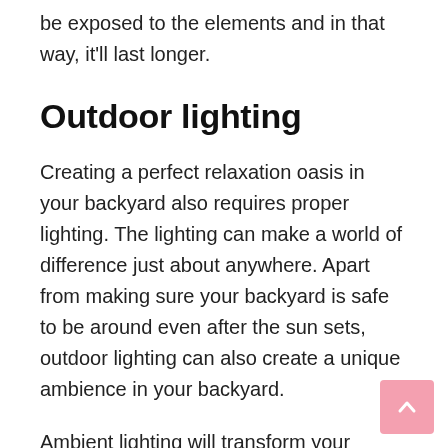be exposed to the elements and in that way, it'll last longer.
Outdoor lighting
Creating a perfect relaxation oasis in your backyard also requires proper lighting. The lighting can make a world of difference just about anywhere. Apart from making sure your backyard is safe to be around even after the sun sets, outdoor lighting can also create a unique ambience in your backyard.
Ambient lighting will transform your backyard into a true relaxation oasis. So, in addition to your regular task lights, add lanterns, candle lights, dimmable lights. For the backyard, solar